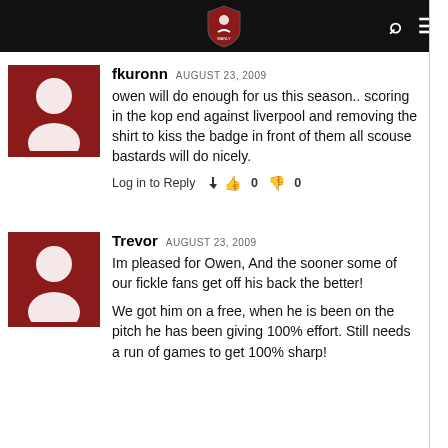Site header with logo and navigation icons
fkuronn AUGUST 23, 2009
owen will do enough for us this season.. scoring in the kop end against liverpool and removing the shirt to kiss the badge in front of them all scouse bastards will do nicely.
Log in to Reply  👍 0  👎 0
Trevor AUGUST 23, 2009
Im pleased for Owen, And the sooner some of our fickle fans get off his back the better!
We got him on a free, when he is been on the pitch he has been giving 100% effort. Still needs a run of games to get 100% sharp!